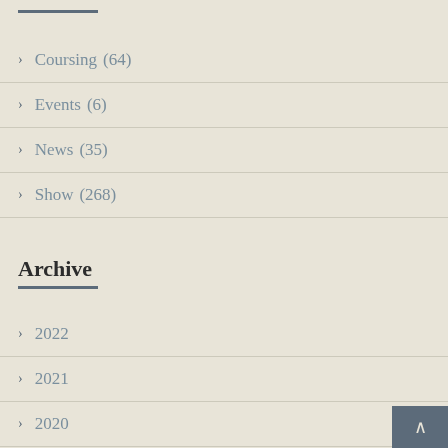> Coursing (64)
> Events (6)
> News (35)
> Show (268)
Archive
> 2022
> 2021
> 2020
> 2019